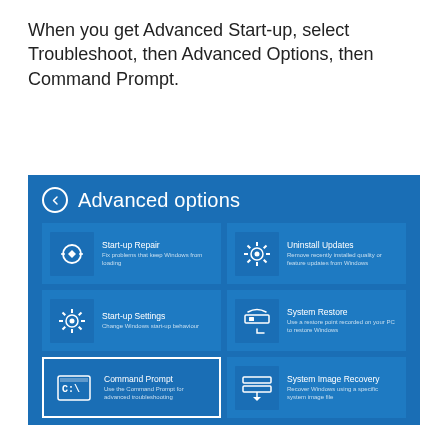When you get Advanced Start-up, select Troubleshoot, then Advanced Options, then Command Prompt.
[Figure (screenshot): Windows 10 Advanced options screen showing six tiles: Start-up Repair, Uninstall Updates, Start-up Settings, System Restore, Command Prompt (highlighted with white border), and System Image Recovery. The screen has a blue background with white text and icons.]